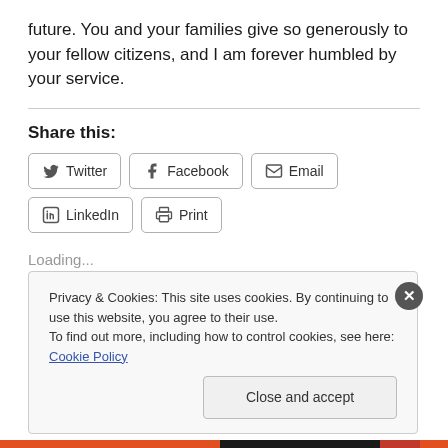future. You and your families give so generously to your fellow citizens, and I am forever humbled by your service.
Share this:
[Figure (other): Social share buttons: Twitter, Facebook, Email, LinkedIn, Print]
Loading...
Privacy & Cookies: This site uses cookies. By continuing to use this website, you agree to their use.
To find out more, including how to control cookies, see here: Cookie Policy
Close and accept